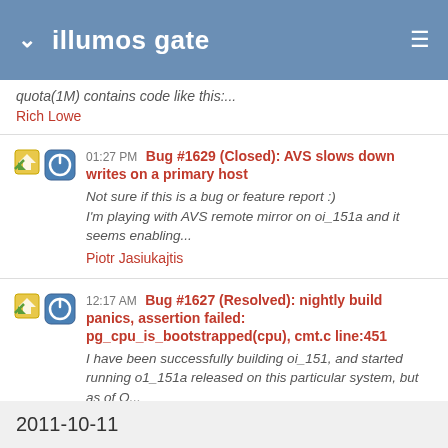illumos gate
quota(1M) contains code like this:...
Rich Lowe
01:27 PM Bug #1629 (Closed): AVS slows down writes on a primary host
Not sure if this is a bug or feature report :)
I'm playing with AVS remote mirror on oi_151a and it seems enabling...
Piotr Jasiukajtis
12:17 AM Bug #1627 (Resolved): nightly build panics, assertion failed: pg_cpu_is_bootstrapped(cpu), cmt.c line:451
I have been successfully building oi_151, and started running o1_151a released on this particular system, but as of O...
Jon Strabala
2011-10-11